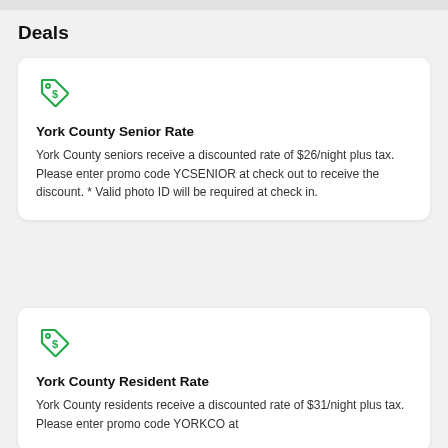Deals
[Figure (illustration): Green price tag icon with dollar sign]
York County Senior Rate
York County seniors receive a discounted rate of $26/night plus tax. Please enter promo code YCSENIOR at check out to receive the discount. * Valid photo ID will be required at check in.
[Figure (illustration): Green price tag icon with dollar sign]
York County Resident Rate
York County residents receive a discounted rate of $31/night plus tax. Please enter promo code YORKCO at